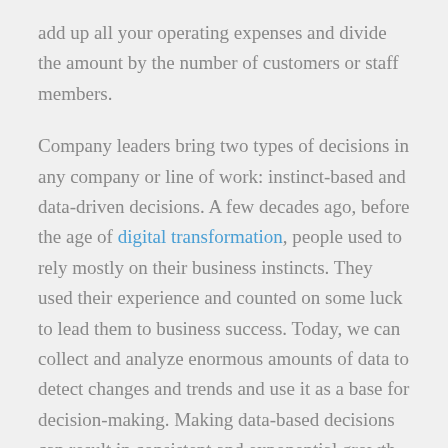add up all your operating expenses and divide the amount by the number of customers or staff members.
Company leaders bring two types of decisions in any company or line of work: instinct-based and data-driven decisions. A few decades ago, before the age of digital transformation, people used to rely mostly on their business instincts. They used their experience and counted on some luck to lead them to business success. Today, we can collect and analyze enormous amounts of data to detect changes and trends and use it as a base for decision-making. Making data-based decisions can result in consistent and exponential growth for the whole company. Of course, every business out there encounters various problems on their way to success, and to be able to handle them, recurring revenue businesses must track these key KPIs to make the right